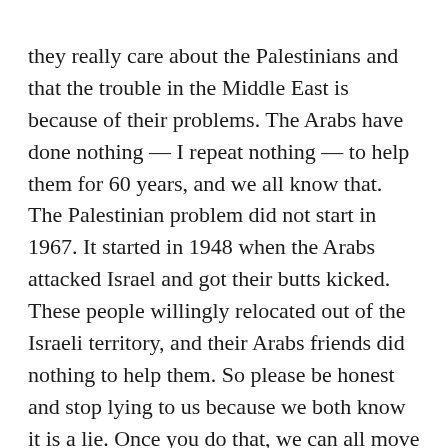they really care about the Palestinians and that the trouble in the Middle East is because of their problems. The Arabs have done nothing — I repeat nothing — to help them for 60 years, and we all know that. The Palestinian problem did not start in 1967. It started in 1948 when the Arabs attacked Israel and got their butts kicked. These people willingly relocated out of the Israeli territory, and their Arabs friends did nothing to help them. So please be honest and stop lying to us because we both know it is a lie. Once you do that, we can all move forward.
Mr. Obama, we also want an apology for all those Christians and Jews kicked out of the Arab countries. While they have been really